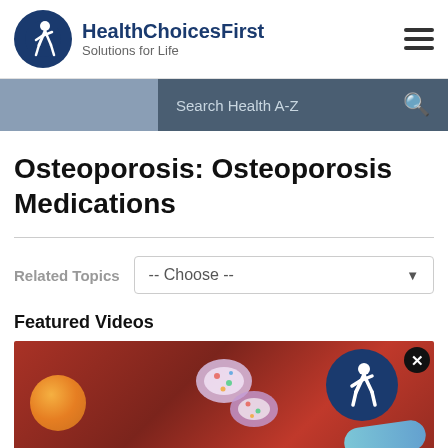[Figure (logo): HealthChoicesFirst logo — dark navy circle with white figure, brand name and tagline]
Search Health A-Z
Osteoporosis: Osteoporosis Medications
Related Topics  -- Choose --
Featured Videos
[Figure (photo): Close-up photo of colorful pills and capsules — orange, red, white/pink speckled, and cyan — on a red background]